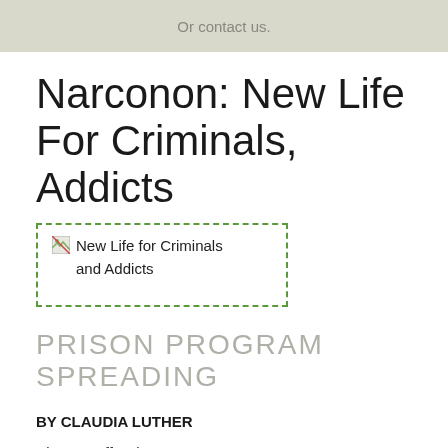Or contact us.
Narconon: New Life For Criminals, Addicts
[Figure (other): Broken image placeholder with alt text 'New Life for Criminals and Addicts']
PRISON PROGRAM SPREADING
BY CLAUDIA LUTHER
Times Staff Writer
Ben Gibson, 30 year-old director of Narconon New